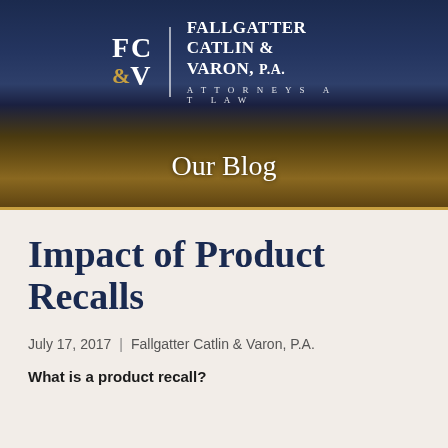[Figure (logo): Fallgatter Catlin & Varon, P.A. law firm logo with city skyline background and 'Our Blog' heading]
Impact of Product Recalls
July 17, 2017 | Fallgatter Catlin & Varon, P.A.
What is a product recall?